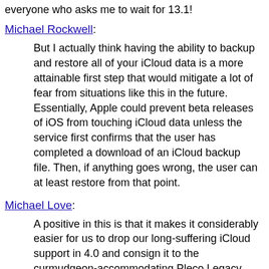everyone who asks me to wait for 13.1!
Michael Rockwell:
But I actually think having the ability to backup and restore all of your iCloud data is a more attainable first step that would mitigate a lot of fear from situations like this in the future. Essentially, Apple could prevent beta releases of iOS from touching iCloud data unless the service first confirms that the user has completed a download of an iCloud backup file. Then, if anything goes wrong, the user can at least restore from that point.
Michael Love:
A positive in this is that it makes it considerably easier for us to drop our long-suffering iCloud support in 4.0 and consign it to the curmudgeon-accommodating Pleco Legacy app.
I literally have a support email in my inbox right now about somebody losing their iCloud-synced flashcards due to an iOS 13 beta bug; if Apple's willing to ship a